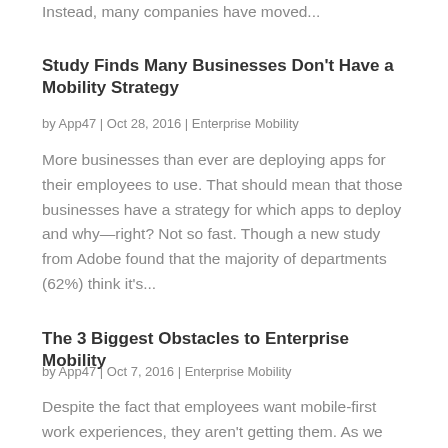Instead, many companies have moved...
Study Finds Many Businesses Don't Have a Mobility Strategy
by App47 | Oct 28, 2016 | Enterprise Mobility
More businesses than ever are deploying apps for their employees to use. That should mean that those businesses have a strategy for which apps to deploy and why—right? Not so fast. Though a new study from Adobe found that the majority of departments (62%) think it's...
The 3 Biggest Obstacles to Enterprise Mobility
by App47 | Oct 7, 2016 | Enterprise Mobility
Despite the fact that employees want mobile-first work experiences, they aren't getting them. As we